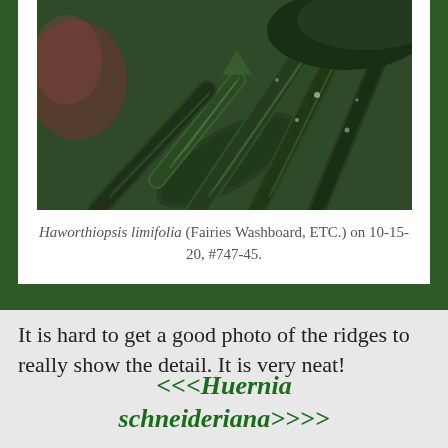[Figure (photo): Close-up photograph of Haworthiopsis limifolia (Fairies Washboard) plant showing dark green succulent leaves with distinctive ridged texture, water droplets visible on leaves]
Haworthiopsis limifolia (Fairies Washboard, ETC.) on 10-15-20, #747-45.
It is hard to get a good photo of the ridges to really show the detail. It is very neat!
<<<Huernia schneideriana>>>>